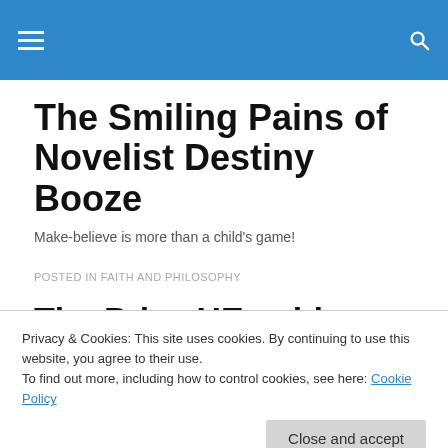≡  🔍
The Smiling Pains of Novelist Destiny Booze
Make-believe is more than a child's game!
POSTED IN FAITH AND PHILOSOPHY
The Price HE paid.
Privacy & Cookies: This site uses cookies. By continuing to use this website, you agree to their use.
To find out more, including how to control cookies, see here: Cookie Policy
morning he came to Church carrying a rusty, bent, old bird